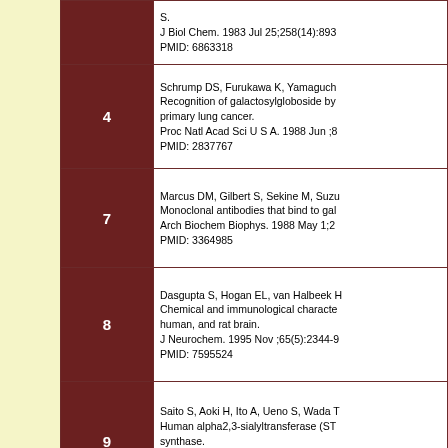| Number | Reference |
| --- | --- |
| (top partial) | J Biol Chem. 1983 Jul 25;258(14):893...
PMID: 6863318 |
| 4 | Schrump DS, Furukawa K, Yamaguch...
Recognition of galactosylgloboside by primary lung cancer.
Proc Natl Acad Sci U S A. 1988 Jun ;8...
PMID: 2837767 |
| 7 | Marcus DM, Gilbert S, Sekine M, Suzu...
Monoclonal antibodies that bind to gal...
Arch Biochem Biophys. 1988 May 1;2...
PMID: 3364985 |
| 8 | Dasgupta S, Hogan EL, van Halbeek H...
Chemical and immunological characte...
human, and rat brain.
J Neurochem. 1995 Nov ;65(5):2344-9...
PMID: 7595524 |
| 9 | Saito S, Aoki H, Ito A, Ueno S, Wada T...
Human alpha2,3-sialyltransferase (ST...
synthase.
J Biol Chem. 2003 Jul 18;278(29):264...
PMID: 12716912 |